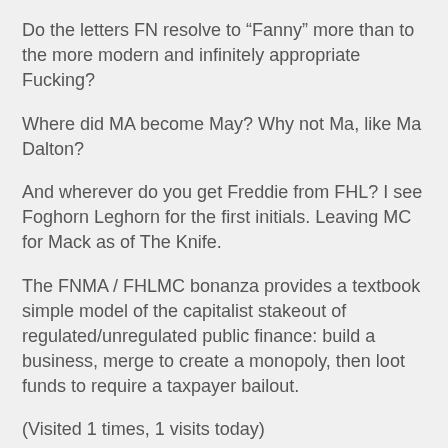Do the letters FN resolve to “Fanny” more than to the more modern and infinitely appropriate Fucking?
Where did MA become May? Why not Ma, like Ma Dalton?
And wherever do you get Freddie from FHL? I see Foghorn Leghorn for the first initials. Leaving MC for Mack as of The Knife.
The FNMA / FHLMC bonanza provides a textbook simple model of the capitalist stakeout of regulated/unregulated public finance: build a business, merge to create a monopoly, then loot funds to require a taxpayer bailout.
(Visited 1 times, 1 visits today)
Related Posts:
Nostril Dumb-ass joins anti-Russian chorus